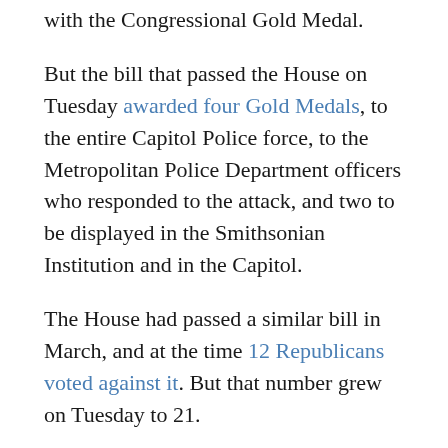with the Congressional Gold Medal.
But the bill that passed the House on Tuesday awarded four Gold Medals, to the entire Capitol Police force, to the Metropolitan Police Department officers who responded to the attack, and two to be displayed in the Smithsonian Institution and in the Capitol.
The House had passed a similar bill in March, and at the time 12 Republicans voted against it. But that number grew on Tuesday to 21.
Republicans said rhwy voted against it because they took issue with the fact that the legislation called the rioters “a mob of insurrectionists.”
“I wouldn’t call it an insurrection,” Rep. Marjorie Taylor Greene (R-GA) told Politico of the Jan. 6 attack, when a